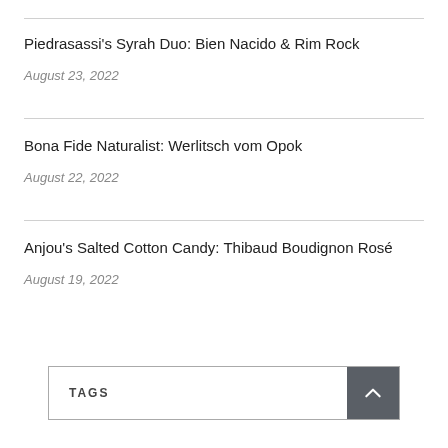Piedrasassi's Syrah Duo: Bien Nacido & Rim Rock
August 23, 2022
Bona Fide Naturalist: Werlitsch vom Opok
August 22, 2022
Anjou's Salted Cotton Candy: Thibaud Boudignon Rosé
August 19, 2022
TAGS